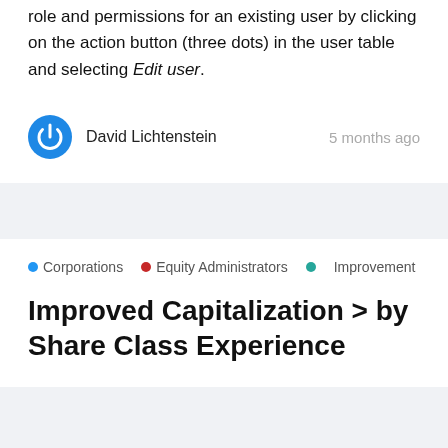role and permissions for an existing user by clicking on the action button (three dots) in the user table and selecting Edit user.
David Lichtenstein   5 months ago
Corporations  Equity Administrators  Improvement
Improved Capitalization > by Share Class Experience